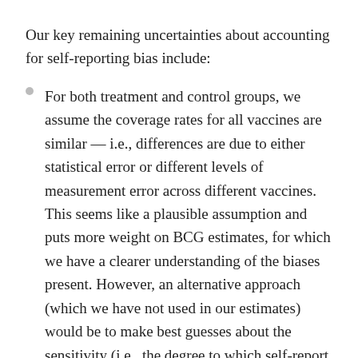Our key remaining uncertainties about accounting for self-reporting bias include:
For both treatment and control groups, we assume the coverage rates for all vaccines are similar — i.e., differences are due to either statistical error or different levels of measurement error across different vaccines. This seems like a plausible assumption and puts more weight on BCG estimates, for which we have a clearer understanding of the biases present. However, an alternative approach (which we have not used in our estimates) would be to make best guesses about the sensitivity (i.e., the degree to which self-report